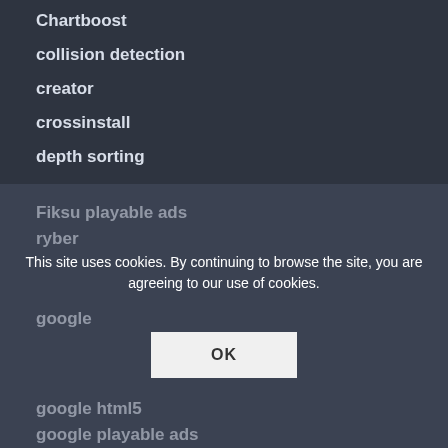Chartboost
collision detection
creator
crossinstall
depth sorting
facebook instant game development
facebook instant games
facebook instant games leaderboard
facebook instant games tutorial
facebook playable ads
fbinstant
Fiksu
Fiksu playable ads
ryber
google
google html5
google playable ads
This site uses cookies. By continuing to browse the site, you are agreeing to our use of cookies.